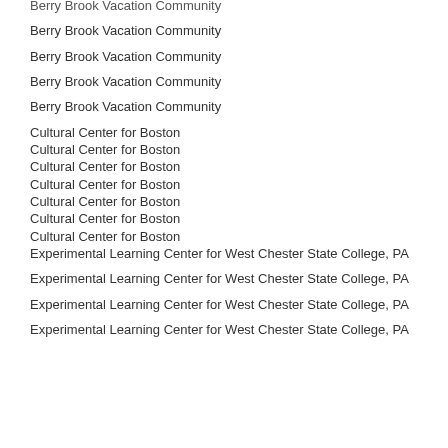Berry Brook Vacation Community
Berry Brook Vacation Community
Berry Brook Vacation Community
Berry Brook Vacation Community
Berry Brook Vacation Community
Cultural Center for Boston
Cultural Center for Boston
Cultural Center for Boston
Cultural Center for Boston
Cultural Center for Boston
Cultural Center for Boston
Cultural Center for Boston
Experimental Learning Center for West Chester State College, PA
Experimental Learning Center for West Chester State College, PA
Experimental Learning Center for West Chester State College, PA
Experimental Learning Center for West Chester State College, PA